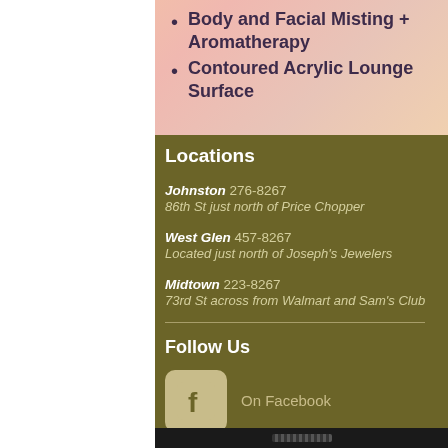Body and Facial Misting + Aromatherapy
Contoured Acrylic Lounge Surface
Locations
Johnston  276-8267
86th St just north of Price Chopper
West Glen  457-8267
Located just north of Joseph's Jewelers
Midtown  223-8267
73rd St across from Walmart and Sam's Club
Follow Us
On Facebook
© 2015 by Soleil Tan Spas. Proudly created with Wix.com